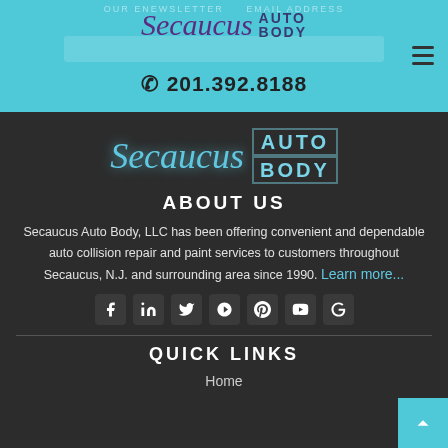OUR ENEWSLETTER EMAIL ADDRESS
[Figure (logo): Secaucus Auto Body logo in header - script Secaucus with AUTO BODY block text]
201.392.8188
[Figure (logo): Secaucus Auto Body main logo in dark footer - glowing teal script Secaucus with AUTO BODY block text]
ABOUT US
Secaucus Auto Body, LLC has been offering convenient and dependable auto collision repair and paint services to customers throughout Secaucus, N.J. and surrounding area since 1990. Learn more...
[Figure (infographic): Social media icons: Facebook, LinkedIn, Twitter, Yelp, Pinterest, YouTube, Google]
QUICK LINKS
Home